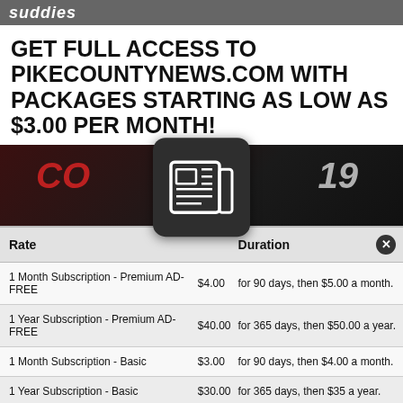suddies
GET FULL ACCESS TO PIKECOUNTYNEWS.COM WITH PACKAGES STARTING AS LOW AS $3.00 PER MONTH!
[Figure (screenshot): COVID-19 news image with newspaper icon overlay]
| Rate |  | Duration |  |
| --- | --- | --- | --- |
| 1 Month Subscription - Premium AD-FREE | $4.00 | for 90 days, then $5.00 a month. |  |
| 1 Year Subscription - Premium AD-FREE | $40.00 | for 365 days, then $50.00 a year. |  |
| 1 Month Subscription - Basic | $3.00 | for 90 days, then $4.00 a month. |  |
| 1 Year Subscription - Basic | $30.00 | for 365 days, then $35 a year. |  |
[Figure (screenshot): PetSmart advertisement: Hill's Science Diet Puppy Food, Petsmart.com]